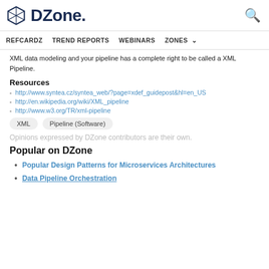DZone. [search icon]
REFCARDZ  TREND REPORTS  WEBINARS  ZONES
XML data modeling and your pipeline has a complete right to be called a XML Pipeline.
Resources
http://www.syntea.cz/syntea_web/?page=xdef_guidepost&hl=en_US
http://en.wikipedia.org/wiki/XML_pipeline
http://www.w3.org/TR/xml-pipeline
XML  Pipeline (Software)
Opinions expressed by DZone contributors are their own.
Popular on DZone
Popular Design Patterns for Microservices Architectures
Data Pipeline Orchestration